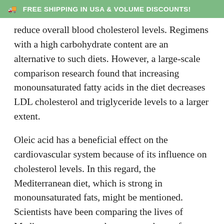🚚  FREE SHIPPING IN USA & VOLUME DISCOUNTS!
reduce overall blood cholesterol levels. Regimens with a high carbohydrate content are an alternative to such diets. However, a large-scale comparison research found that increasing monounsaturated fatty acids in the diet decreases LDL cholesterol and triglyceride levels to a larger extent.
Oleic acid has a beneficial effect on the cardiovascular system because of its influence on cholesterol levels. In this regard, the Mediterranean diet, which is strong in monounsaturated fats, might be mentioned. Scientists have been comparing the lives of Mediterranean men and women to those of northern Europe, the United States, and Japan for the past 25 years. Monounsaturated fats in the diet have been linked to a decreased risk of heart disease.
In a research of couple of dozen people with high blood pressure, it was shown that a diet rich in